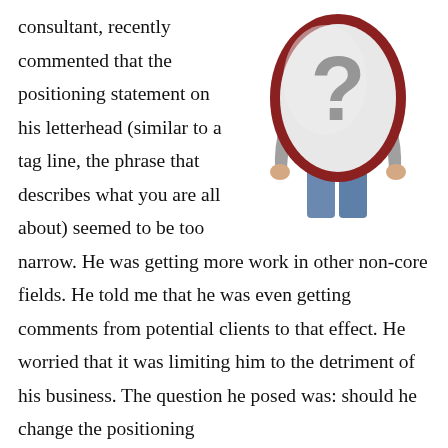[Figure (photo): A person holding an oval mirror with a dark red/brown frame in front of their face. The mirror reflects a large grey question mark. The person is wearing a grey long-sleeve top and blue jeans.]
consultant, recently commented that the positioning statement on his letterhead (similar to a tag line, the phrase that describes what you are all about) seemed to be too narrow. He was getting more work in other non-core fields. He told me that he was even getting comments from potential clients to that effect. He worried that it was limiting him to the detriment of his business. The question he posed was: should he change the positioning